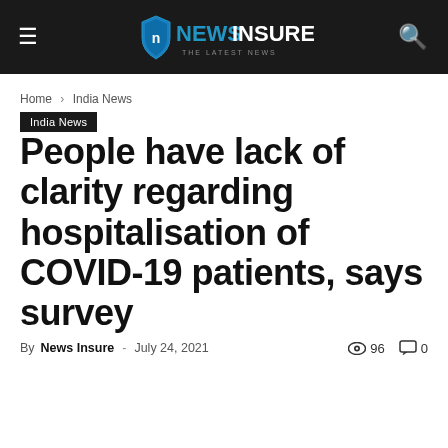NewsInsure — The Latest News
Home › India News
India News
People have lack of clarity regarding hospitalisation of COVID-19 patients, says survey
By News Insure - July 24, 2021  96  0